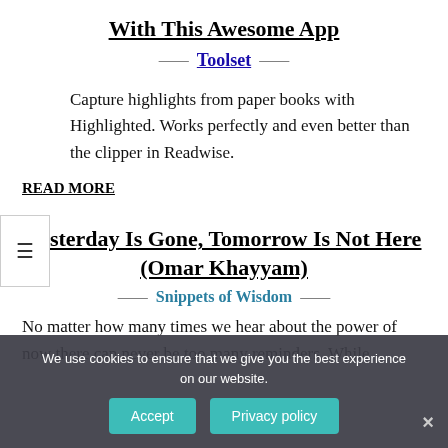With This Awesome App
— Toolset —
Capture highlights from paper books with Highlighted. Works perfectly and even better than the clipper in Readwise.
READ MORE
Yesterday Is Gone, Tomorrow Is Not Here (Omar Khayyam)
— Snippets of Wisdom —
No matter how many times we hear about the power of now there can never be too many reminders. While
We use cookies to ensure that we give you the best experience on our website.